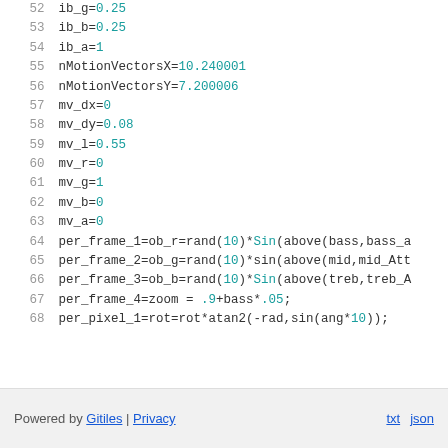52 ib_g=0.25
53 ib_b=0.25
54 ib_a=1
55 nMotionVectorsX=10.240001
56 nMotionVectorsY=7.200006
57 mv_dx=0
58 mv_dy=0.08
59 mv_l=0.55
60 mv_r=0
61 mv_g=1
62 mv_b=0
63 mv_a=0
64 per_frame_1=ob_r=rand(10)*Sin(above(bass,bass_a
65 per_frame_2=ob_g=rand(10)*sin(above(mid,mid_Att
66 per_frame_3=ob_b=rand(10)*Sin(above(treb,treb_A
67 per_frame_4=zoom = .9+bass*.05;
68 per_pixel_1=rot=rot*atan2(-rad,sin(ang*10));
Powered by Gitiles | Privacy   txt  json